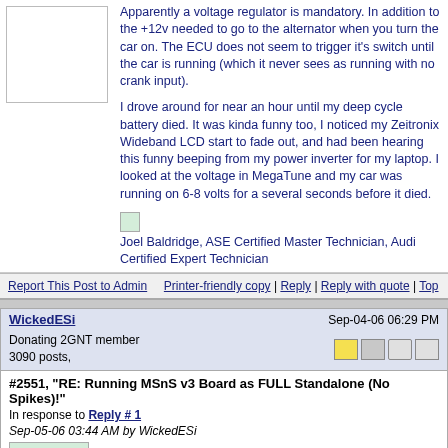Apparently a voltage regulator is mandatory. In addition to the +12v needed to go to the alternator when you turn the car on. The ECU does not seem to trigger it's switch until the car is running (which it never sees as running with no crank input).
I drove around for near an hour until my deep cycle battery died. It was kinda funny too, I noticed my Zeitronix Wideband LCD start to fade out, and had been hearing this funny beeping from my power inverter for my laptop. I looked at the voltage in MegaTune and my car was running on 6-8 volts for a several seconds before it died.
Joel Baldridge, ASE Certified Master Technician, Audi Certified Expert Technician
Report This Post to Admin    Printer-friendly copy | Reply | Reply with quote | Top
WickedESi
Sep-04-06 06:29 PM
Donating 2GNT member
3090 posts,
#2551, "RE: Running MSnS v3 Board as FULL Standalone (No Spikes)!"
In response to Reply # 1
Sep-05-06 03:44 AM by WickedESi